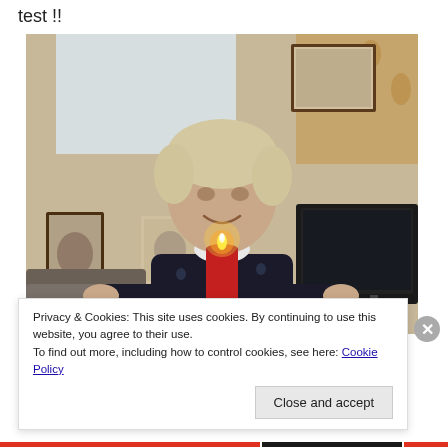test !!
[Figure (photo): An elderly woman with short grey/blonde hair, wearing a dark navy floral sweater with a white collar, smiling and holding a lit red candle. She is standing in a living room with framed photos on shelves behind her and a television to the right. Light comes from a window in the background.]
Privacy & Cookies: This site uses cookies. By continuing to use this website, you agree to their use.
To find out more, including how to control cookies, see here: Cookie Policy
Close and accept